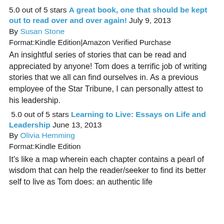5.0 out of 5 stars A great book, one that should be kept out to read over and over again! July 9, 2013
By Susan Stone
Format:Kindle Edition|Amazon Verified Purchase
An insightful series of stories that can be read and appreciated by anyone! Tom does a terrific job of writing stories that we all can find ourselves in. As a previous employee of the Star Tribune, I can personally attest to his leadership.
5.0 out of 5 stars Learning to Live: Essays on Life and Leadership June 13, 2013
By Olivia Hemming
Format:Kindle Edition
It's like a map wherein each chapter contains a pearl of wisdom that can help the reader/seeker to find its better self to live as Tom does: an authentic life